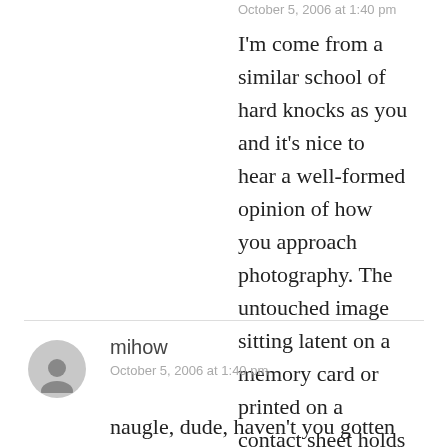October 5, 2006 at 1:40 pm
I'm come from a similar school of hard knocks as you and it's nice to hear a well-formed opinion of how you approach photography. The untouched image sitting latent on a memory card or printed on a contact sheet holds a lot of power.
Reply
mihow
October 5, 2006 at 1:40 pm
naugle, dude, haven't you gotten my emails lately? I do wonder if